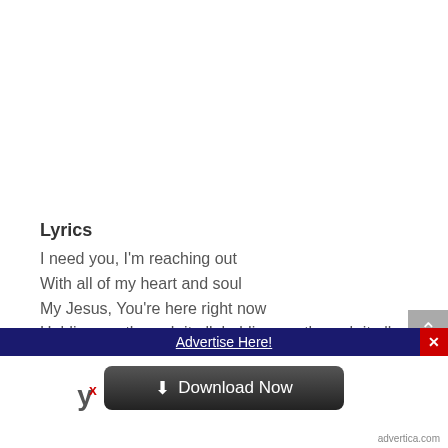Lyrics
I need you, I'm reaching out
With all of my heart and soul
My Jesus, You're here right now
Holding me through it all, holding me through it all
Here in this moment, Lord I am running
Right up to your throne
Advertise Here!
[Figure (other): Download Now button with arrow icon]
advertica.com